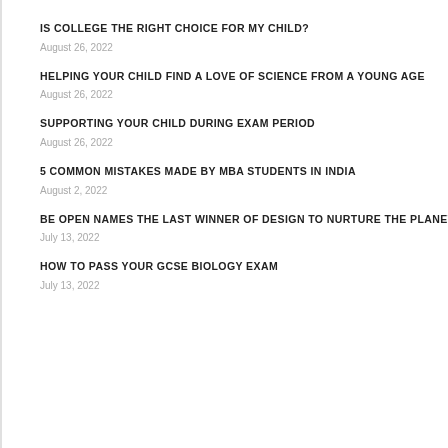IS COLLEGE THE RIGHT CHOICE FOR MY CHILD?
August 26, 2022
HELPING YOUR CHILD FIND A LOVE OF SCIENCE FROM A YOUNG AGE
August 26, 2022
SUPPORTING YOUR CHILD DURING EXAM PERIOD
August 26, 2022
5 COMMON MISTAKES MADE BY MBA STUDENTS IN INDIA
August 2, 2022
BE OPEN NAMES THE LAST WINNER OF DESIGN TO NURTURE THE PLANET, INTERNA
July 13, 2022
HOW TO PASS YOUR GCSE BIOLOGY EXAM
July 13, 2022